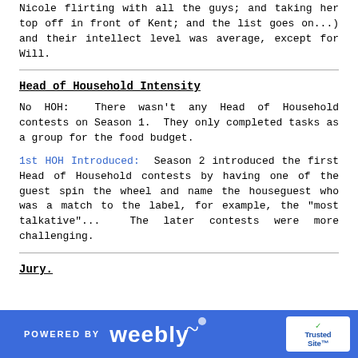Nicole flirting with all the guys; and taking her top off in front of Kent; and the list goes on...) and their intellect level was average, except for Will.
Head of Household Intensity
No HOH:  There wasn't any Head of Household contests on Season 1.  They only completed tasks as a group for the food budget.
1st HOH Introduced:  Season 2 introduced the first Head of Household contests by having one of the guest spin the wheel and name the houseguest who was a match to the label, for example, the "most talkative"...  The later contests were more challenging.
Jury.
POWERED BY weebly  TrustedSite